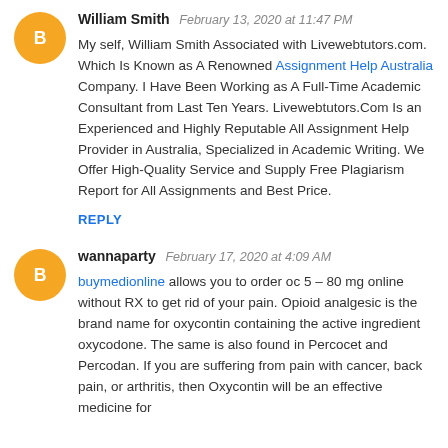William Smith  February 13, 2020 at 11:47 PM
My self, William Smith Associated with Livewebtutors.com. Which Is Known as A Renowned Assignment Help Australia Company. I Have Been Working as A Full-Time Academic Consultant from Last Ten Years. Livewebtutors.Com Is an Experienced and Highly Reputable All Assignment Help Provider in Australia, Specialized in Academic Writing. We Offer High-Quality Service and Supply Free Plagiarism Report for All Assignments and Best Price.
REPLY
wannaparty  February 17, 2020 at 4:09 AM
buymedionline allows you to order oc 5 – 80 mg online without RX to get rid of your pain. Opioid analgesic is the brand name for oxycontin containing the active ingredient oxycodone. The same is also found in Percocet and Percodan. If you are suffering from pain with cancer, back pain, or arthritis, then Oxycontin will be an effective medicine for